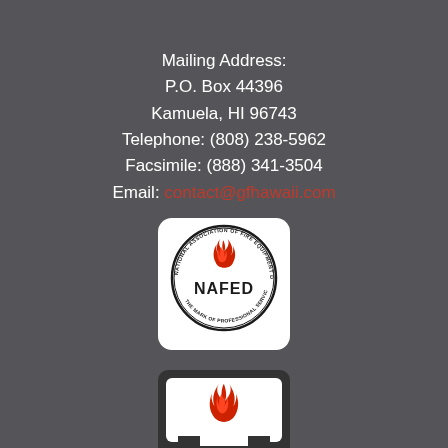Mailing Address:
P.O. Box 44396
Kamuela, HI 96743
Telephone: (808) 238-5962
Facsimile: (888) 341-3504
Email: contact@gfhawaii.com
[Figure (logo): NAFED - National Association of Fire Equipment Distributors logo. Circular badge with red flame logo and text 'NAFED' in bold, 'THE MARK OF PROFESSIONAL SERVICE' at bottom, on white rounded-rectangle background.]
[Figure (logo): NFPA logo. Dark rounded-rectangle border with white interior, red flame logo in center, 'NFPA' text at bottom with registered trademark symbol.]